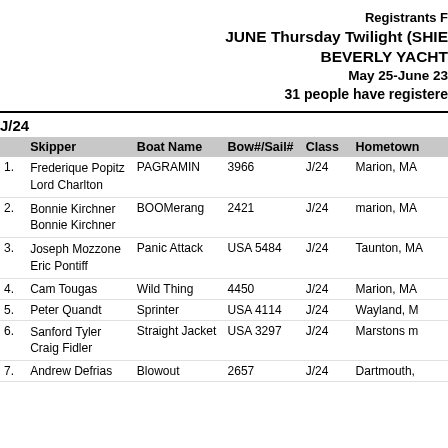Registrants F JUNE Thursday Twilight (SHIE BEVERLY YACHT May 25-June 23 31 people have registere
J/24
|  | Skipper | Boat Name | Bow#/Sail# | Class | Hometown |
| --- | --- | --- | --- | --- | --- |
| 1. | Frederique Popitz
Lord Charlton | PAGRAMIN | 3966 | J/24 | Marion, MA |
| 2. | Bonnie Kirchner
Bonnie Kirchner | BOOMerang | 2421 | J/24 | marion, MA |
| 3. | Joseph Mozzone
Eric Pontiff | Panic Attack | USA 5484 | J/24 | Taunton, MA |
| 4. | Cam Tougas | Wild Thing | 4450 | J/24 | Marion, MA |
| 5. | Peter Quandt | Sprinter | USA 4114 | J/24 | Wayland, M |
| 6. | Sanford Tyler
Craig Fidler | Straight Jacket | USA 3297 | J/24 | Marstons m |
| 7. | Andrew Defrias | Blowout | 2657 | J/24 | Dartmouth, |